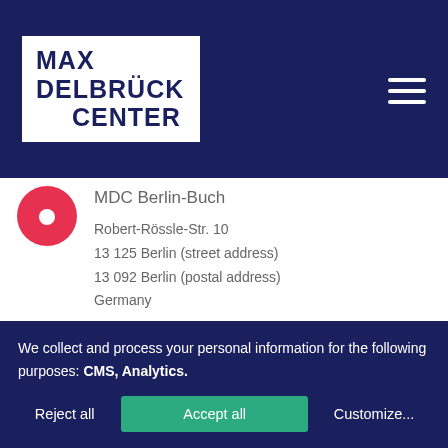[Figure (logo): Max Delbrück Center logo — white text on dark navy blue header, with white rectangular logo box]
MDC Berlin-Buch
Robert-Rössle-Str. 10
13125 Berlin (street address)
13092 Berlin (postal address)
Germany
Phone: +49 30 9406-0
Travel directions
View on Google Maps
We collect and process your personal information for the following purposes: CMS, Analytics.
Reject all   Accept all   Customize...